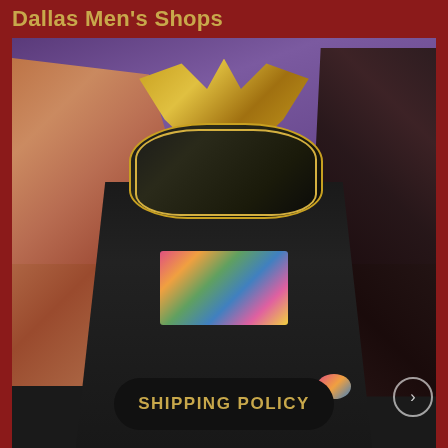Dallas Men's Shops
[Figure (photo): Man wearing a gold and black Venetian masquerade mask with crown-like horns, dressed in a dark suit with a colorful floral bow tie and pocket square. Background features purple drapery, orange/red feathers on the left, and dark feathers on the right.]
SHIPPING POLICY